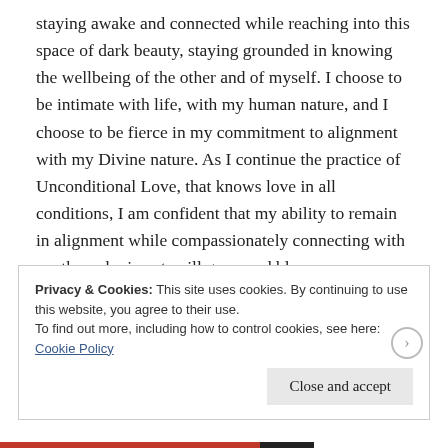staying awake and connected while reaching into this space of dark beauty, staying grounded in knowing the wellbeing of the other and of myself. I choose to be intimate with life, with my human nature, and I choose to be fierce in my commitment to alignment with my Divine nature. As I continue the practice of Unconditional Love, that knows love in all conditions, I am confident that my ability to remain in alignment while compassionately connecting with another who is not, will grow and blossom.
Privacy & Cookies: This site uses cookies. By continuing to use this website, you agree to their use.
To find out more, including how to control cookies, see here: Cookie Policy